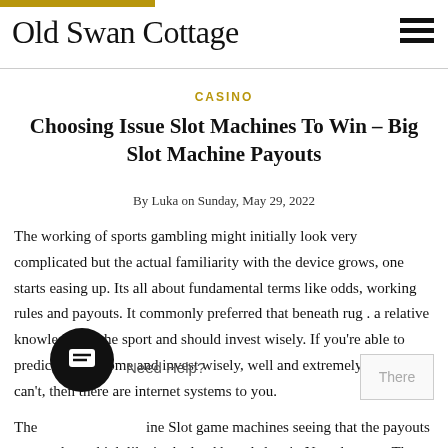Old Swan Cottage
CASINO
Choosing Issue Slot Machines To Win – Big Slot Machine Payouts
By Luka on Sunday, May 29, 2022
The working of sports gambling might initially look very complicated but the actual familiarity with the device grows, one starts easing up. Its all about fundamental terms like odds, working rules and payouts. It commonly preferred that beneath rug . a relative knowledge of the sport and should invest wisely. If you're able to predict the outcome and invest wisely, well and extremely. If you can't, then there are internet systems to you.
The [chat widget] a [Need Help?] ine Slot game machines seeing that the payouts averagely set high like in the land based slots in Nevada. There is an interesting thing that before playing for real money, one can play